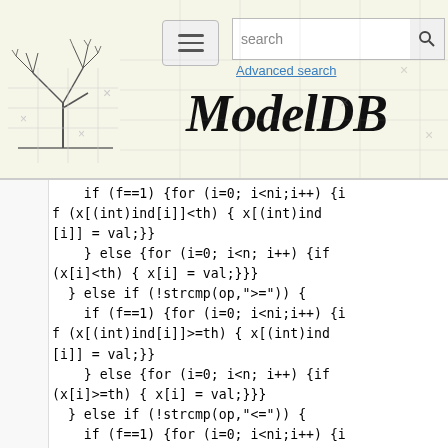ModelDB — Advanced search
if (f==1) {for (i=0; i<ni;i++) {if (x[(int)ind[i]]<th) { x[(int)ind[i]] = val;}}
    } else {for (i=0; i<n; i++) {if (x[i]<th) { x[i] = val;}}}
  } else if (!strcmp(op,">=")) {
    if (f==1) {for (i=0; i<ni;i++) {if (x[(int)ind[i]]>=th) { x[(int)ind[i]] = val;}}
    } else {for (i=0; i<n; i++) {if (x[i]>=th) { x[i] = val;}}}
  } else if (!strcmp(op,"<=")) {
    if (f==1) {for (i=0; i<ni;i++) {if (x[(int)ind[i]]<=th) { x[(int)ind[i]] = val;}}
    } else {for (i=0; i<n; i++) {if (x[i]<=th) { x[i] = val;}}}
  } else if ((s=hoc_lookup(op))) { // same as .apply but only does indexed ones